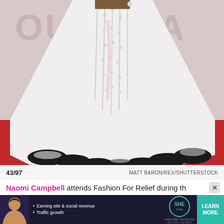[Figure (photo): Photo of a person wearing a white beaded/sequined mermaid gown with a long train edged in black, standing on a red carpet in front of a light pink backdrop with partial text visible.]
43/97    MATT BARON/REX/SHUTTERSTOCK
Naomi Campbell attends Fashion For Relief during th
[Figure (infographic): Advertisement banner for SHE Partner Network: 'Earning site & social revenue', 'Traffic growth', SHE logo, LEARN MORE button, BECOME A MEMBER text.]